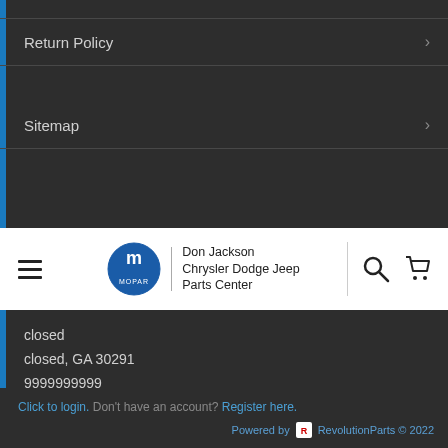Return Policy
Sitemap
[Figure (logo): Navigation bar with hamburger menu, Mopar logo, Don Jackson Chrysler Dodge Jeep Parts Center text, search icon, and cart icon]
closed
closed, GA 30291
9999999999
[Figure (logo): Payment logos: PayPal, VISA, Mastercard, American Express, Discover]
Click to login. Don't have an account? Register here.
Powered by RevolutionParts © 2022